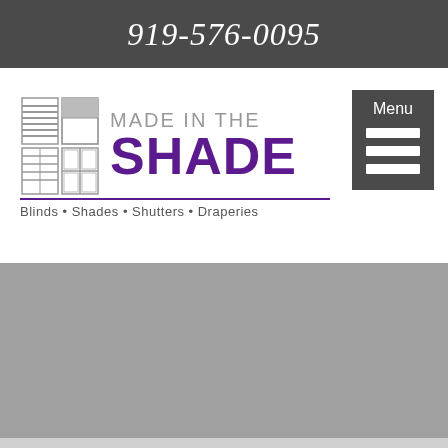919-576-0095
[Figure (logo): Made in the Shade logo with blind/shade icon grid, purple SHADE text, and tagline: Blinds • Shades • Shutters • Draperies]
[Figure (screenshot): Menu navigation button (dark grey with Menu label and three horizontal bars)]
[Figure (photo): Grey hero image area]
COMFORTEX
[Figure (photo): Grey bottom section]